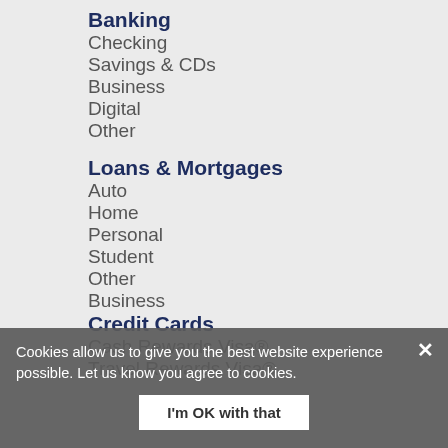Banking
Checking
Savings & CDs
Business
Digital
Other
Loans & Mortgages
Auto
Home
Personal
Student
Other
Business
Credit Cards
Cash Rewards Visa®
Travel Rewards Visa®
Cookies allow us to give you the best website experience possible. Let us know you agree to cookies.
I'm OK with that